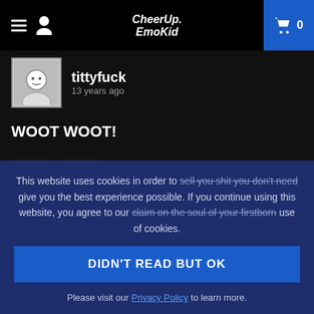CheerUp. EmoKid — navigation header with hamburger, user icon, logo, and cart (0)
tittyfuck
13 years ago
WOOT WOOT!
▲ 0   ▼ 0   REPLY »
This website uses cookies in order to sell you shit you don't need give you the best experience possible. If you continue using this website, you agree to our claim on the soul of your firstborn use of cookies.
DIDN'T READ BUT OK
Please visit our Privacy Policy to learn more.